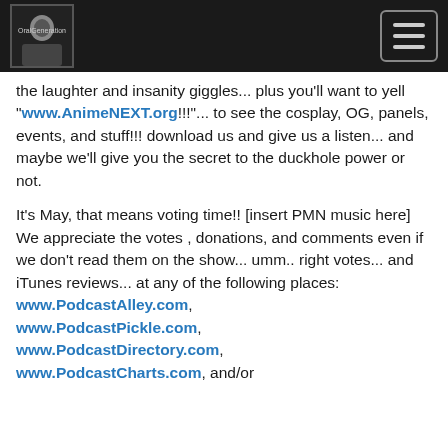[Logo and navigation header bar]
the laughter and insanity giggles... plus you'll want to yell "www.AnimeNEXT.org!!!"... to see the cosplay, OG, panels, events, and stuff!!! download us and give us a listen... and maybe we'll give you the secret to the duckhole power or not.
It's May, that means voting time!! [insert PMN music here] We appreciate the votes , donations, and comments even if we don't read them on the show... umm.. right votes... and iTunes reviews... at any of the following places: www.PodcastAlley.com, www.PodcastPickle.com, www.PodcastDirectory.com, www.PodcastCharts.com, and/or